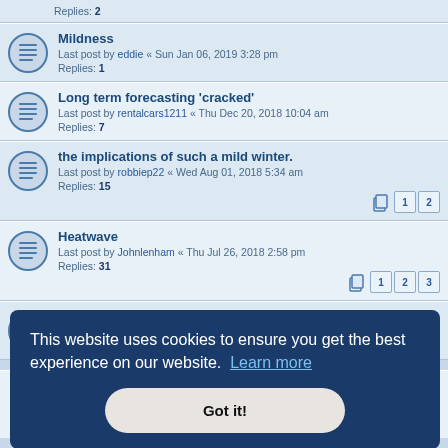Replies: 2
Mildness — Last post by eddie « Sun Jan 06, 2019 3:28 pm — Replies: 1
Long term forecasting 'cracked' — Last post by rentalcars1211 « Thu Dec 20, 2018 10:04 am — Replies: 7
the implications of such a mild winter. — Last post by robbiep22 « Wed Aug 01, 2018 5:34 am — Replies: 15
Heatwave — Last post by Johnlenham « Thu Jul 26, 2018 2:58 pm — Replies: 31
Pakistan — Last post by eddie « Mon Jul 09, 2018 9:15 am — Replies: 2
This website uses cookies to ensure you get the best experience on our website. Learn more
Got it!